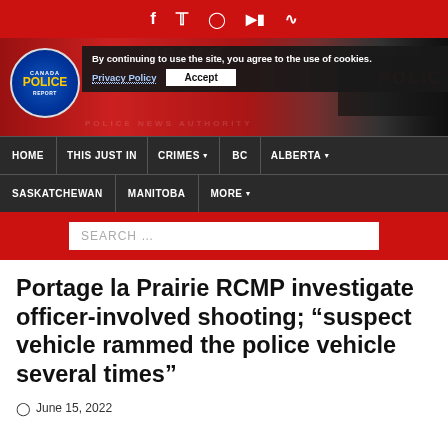Social media icons: Facebook, Twitter, Instagram, YouTube, RSS
[Figure (logo): Canada Police Report circular logo with blue background and yellow text, on a red banner with police vehicle imagery and cookie consent overlay]
By continuing to use the site, you agree to the use of cookies. Privacy Policy | Accept
HOME | THIS JUST IN | CRIMES | BC | ALBERTA | SASKATCHEWAN | MANITOBA | MORE
SEARCH …
Portage la Prairie RCMP investigate officer-involved shooting; “suspect vehicle rammed the police vehicle several times”
June 15, 2022